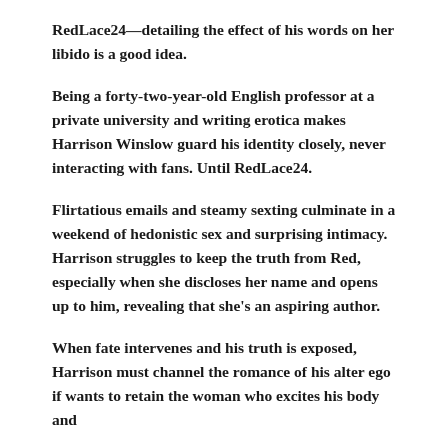RedLace24—detailing the effect of his words on her libido is a good idea.
Being a forty-two-year-old English professor at a private university and writing erotica makes Harrison Winslow guard his identity closely, never interacting with fans. Until RedLace24.
Flirtatious emails and steamy sexting culminate in a weekend of hedonistic sex and surprising intimacy. Harrison struggles to keep the truth from Red, especially when she discloses her name and opens up to him, revealing that she's an aspiring author.
When fate intervenes and his truth is exposed, Harrison must channel the romance of his alter ego if wants to retain the woman who excites his body and